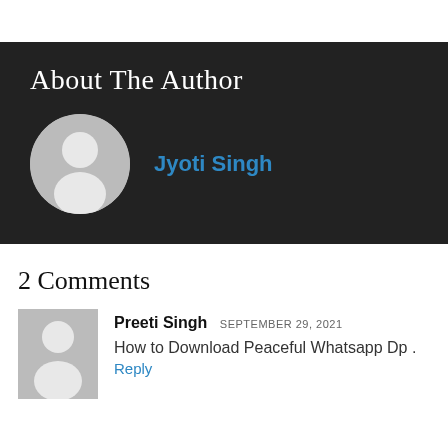About The Author
Jyoti Singh
2 Comments
Preeti Singh SEPTEMBER 29, 2021
How to Download Peaceful Whatsapp Dp .
Reply